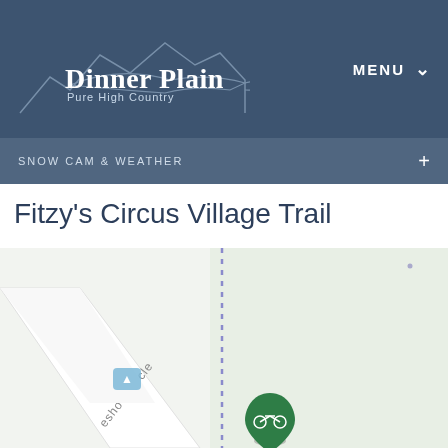[Figure (logo): Dinner Plain Pure High Country logo with mountain silhouette outline on dark blue header background]
MENU
SNOW CAM & WEATHER
Fitzy's Circus Village Trail
[Figure (map): Street map showing a trail route near Horseshoe Circle with a dotted purple trail line and a green bicycle map pin marker, and a blue bus stop marker]